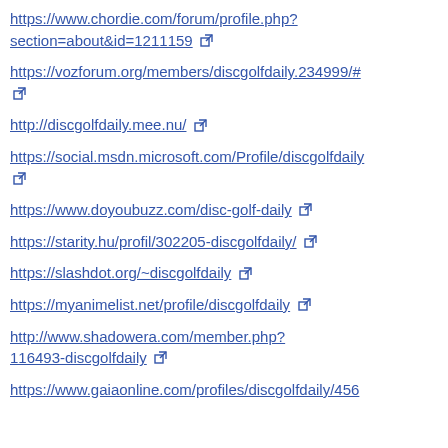https://www.chordie.com/forum/profile.php?section=about&id=1211159 [external link]
https://vozforum.org/members/discgolfdaily.234999/# [external link]
http://discgolfdaily.mee.nu/ [external link]
https://social.msdn.microsoft.com/Profile/discgolfdaily [external link]
https://www.doyoubuzz.com/disc-golf-daily [external link]
https://starity.hu/profil/302205-discgolfdaily/ [external link]
https://slashdot.org/~discgolfdaily [external link]
https://myanimelist.net/profile/discgolfdaily [external link]
http://www.shadowera.com/member.php?116493-discgolfdaily [external link]
https://www.gaiaonline.com/profiles/discgolfdaily/456 [external link]